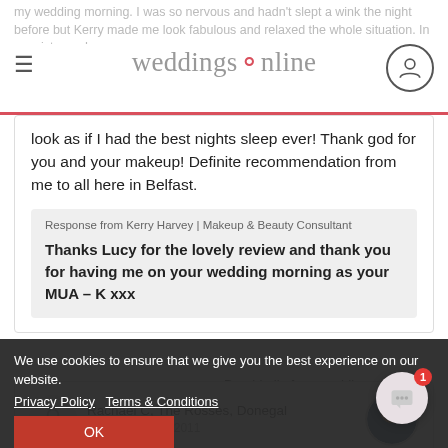weddingsonline
look as if I had the best nights sleep ever! Thank god for you and your makeup! Definite recommendation from me to all here in Belfast.
Response from Kerry Harvey | Makeup & Beauty Consultant
Thanks Lucy for the lovely review and thank you for having me on your wedding morning as your MUA – K xxx
Dearbhaile from weddings...
Hi, I'm Dearbhaile, your totally free wedding...
Rachael C, The Rosses, Donegal
Added 24th Oct 2011
We use cookies to ensure that we give you the best experience on our website.
Privacy Policy   Terms & Conditions
OK